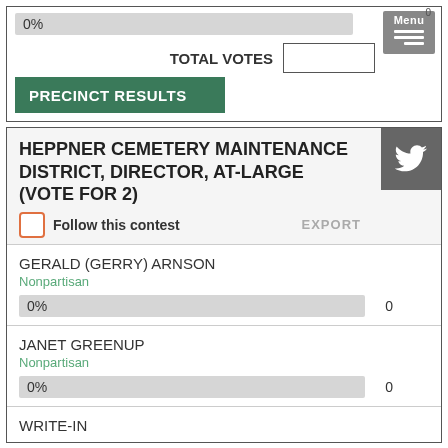0%
TOTAL VOTES
PRECINCT RESULTS
HEPPNER CEMETERY MAINTENANCE DISTRICT, DIRECTOR, AT-LARGE (VOTE FOR 2)
Follow this contest
EXPORT
GERALD (GERRY) ARNSON
Nonpartisan
0%
0
JANET GREENUP
Nonpartisan
0%
0
WRITE-IN